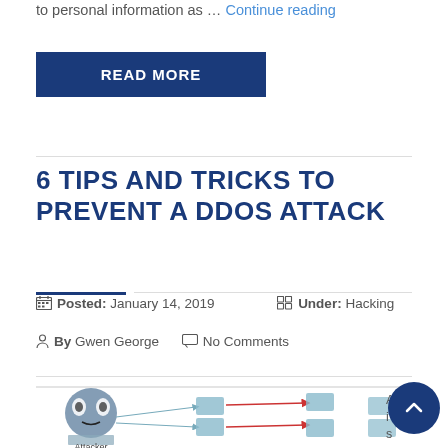to personal information as … Continue reading
READ MORE
6 TIPS AND TRICKS TO PREVENT A DDOS ATTACK
Posted: January 14, 2019   Under: Hacking
By Gwen George   No Comments
[Figure (illustration): DDoS attack network diagram showing attacker computer sending arrows to multiple zombie/bot computers which then attack a target server; partial diagram visible at bottom of page.]